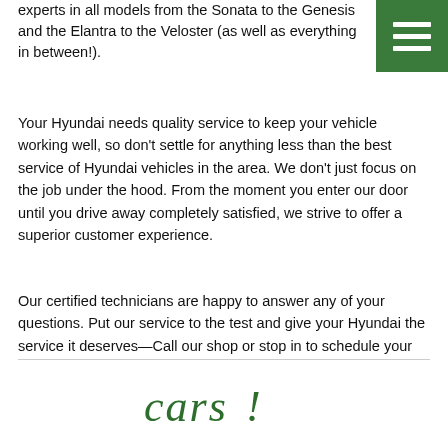experts in all models from the Sonata to the Genesis and the Elantra to the Veloster (as well as everything in between!).
[Figure (other): Green hamburger menu button icon with three horizontal white lines on green background]
Your Hyundai needs quality service to keep your vehicle working well, so don't settle for anything less than the best service of Hyundai vehicles in the area. We don't just focus on the job under the hood. From the moment you enter our door until you drive away completely satisfied, we strive to offer a superior customer experience.
Our certified technicians are happy to answer any of your questions. Put our service to the test and give your Hyundai the service it deserves—Call our shop or stop in to schedule your service appointment today!
[Figure (logo): Green italic script logo at the bottom of the page]